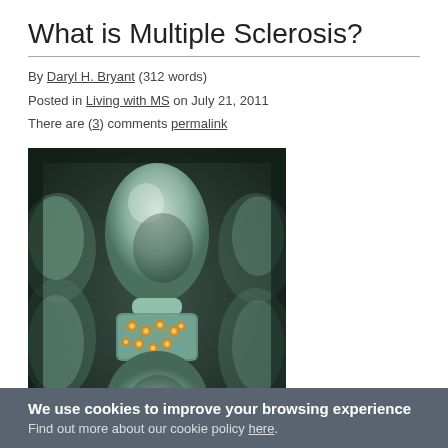What is Multiple Sclerosis?
By Daryl H. Bryant (312 words)
Posted in Living with MS on July 21, 2011
There are (3) comments permalink
[Figure (photo): Close-up 3D illustration of a neuron synapse showing two bulbous neural cell structures with a glowing connection point between them, featuring small golden/amber light dots at the junction, set against a dark green-grey background]
MS is a serious disease that can range along a continuum from mild to severe.
Some people with MS...
We use cookies to improve your browsing experience
Find out more about our cookie policy here.